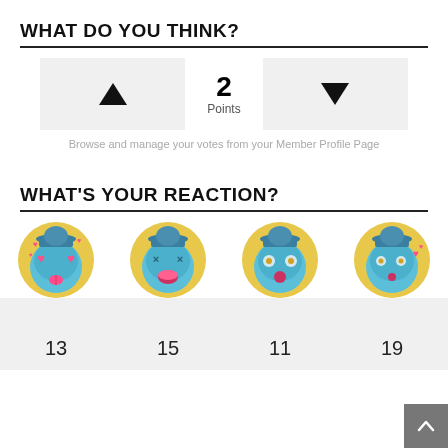WHAT DO YOU THINK?
[Figure (infographic): Vote widget with upvote button, 2 Points score, and downvote button]
Browse and manage your votes from your Member Profile Page
WHAT'S YOUR REACTION?
[Figure (infographic): Four reaction emoji icons (love, laugh, shock, kiss) each with a count below: 13, 15, 11, 19]